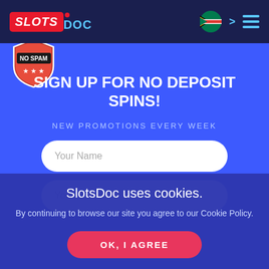[Figure (logo): SlotsDoc logo with red background SLOTS text and blue DOC text on dark navy header bar]
[Figure (illustration): No Spam badge - red shield with stars and NO SPAM text in black and white]
SIGN UP FOR NO DEPOSIT SPINS!
NEW PROMOTIONS EVERY WEEK
Your Name
Your E-mail
SlotsDoc uses cookies.
By continuing to browse our site you agree to our Cookie Policy.
OK, I AGREE